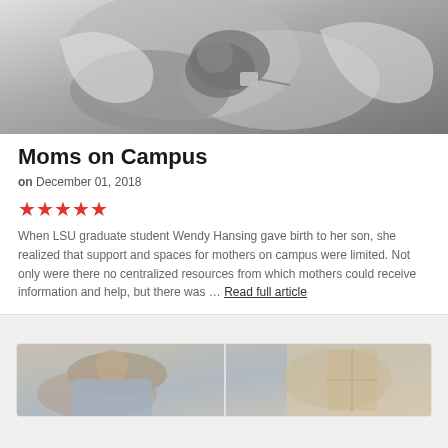[Figure (photo): Black and white photo of a newborn baby with medical devices being held by a person]
Moms on Campus
on December 01, 2018
[Figure (other): Five red star rating]
When LSU graduate student Wendy Hansing gave birth to her son, she realized that support and spaces for mothers on campus were limited. Not only were there no centralized resources from which mothers could receive information and help, but there was … Read full article
[Figure (photo): Photo of a person in a medical or clinical setting, partially visible at bottom of page]